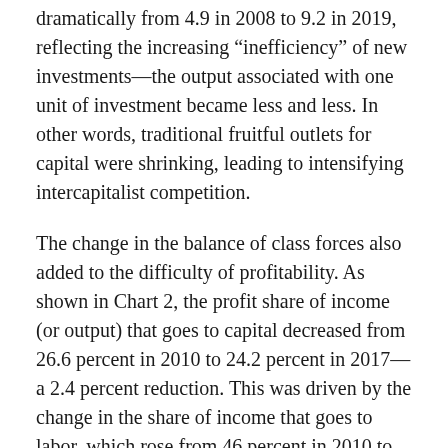dramatically from 4.9 in 2008 to 9.2 in 2019, reflecting the increasing “inefficiency” of new investments—the output associated with one unit of investment became less and less. In other words, traditional fruitful outlets for capital were shrinking, leading to intensifying intercapitalist competition.
The change in the balance of class forces also added to the difficulty of profitability. As shown in Chart 2, the profit share of income (or output) that goes to capital decreased from 26.6 percent in 2010 to 24.2 percent in 2017—a 2.4 percent reduction. This was driven by the change in the share of income that goes to labor, which rose from 46 percent in 2010 to 50 percent in 2017—a 4 percent increase, reflecting the working class’s strengthening bargaining power. The campaign against the 996 working hour system (employees work from 9:00 am to 9:00 pm, six days a week), which is prevalent in China’s technology firms, is illustrative